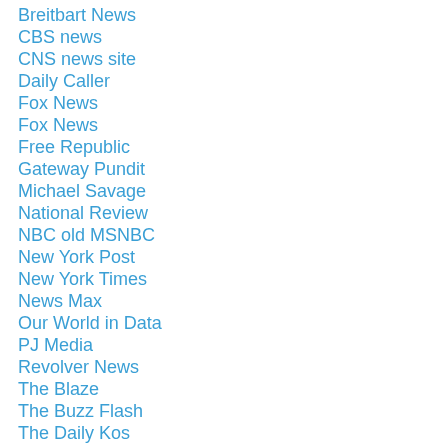Breitbart News
CBS news
CNS news site
Daily Caller
Fox News
Fox News
Free Republic
Gateway Pundit
Michael Savage
National Review
NBC old MSNBC
New York Post
New York Times
News Max
Our World in Data
PJ Media
Revolver News
The Blaze
The Buzz Flash
The Daily Kos